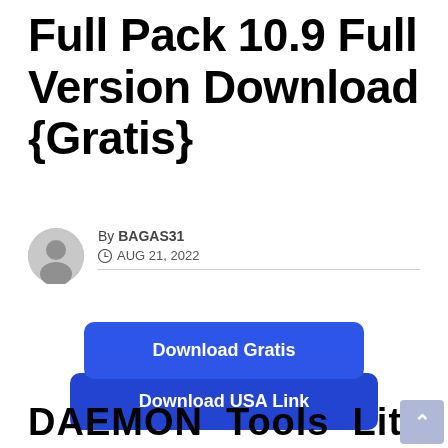Full Pack 10.9 Full Version Download {Gratis}
By BAGAS31 · AUG 21, 2022
[Figure (other): Two stacked blue download buttons labeled 'Download Gratis' and 'Download USA Link']
DAEMON Tools Lite